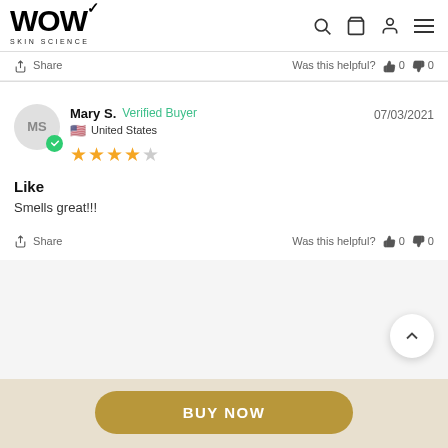[Figure (logo): WOW Skin Science logo with checkmark and navigation icons (search, cart, user, hamburger menu)]
Share   Was this helpful? 0 0
Mary S.  Verified Buyer   07/03/2021
United States
★★★★☆
Like
Smells great!!!
Share   Was this helpful? 0 0
[Figure (other): Scroll to top circular button with upward chevron arrow]
BUY NOW